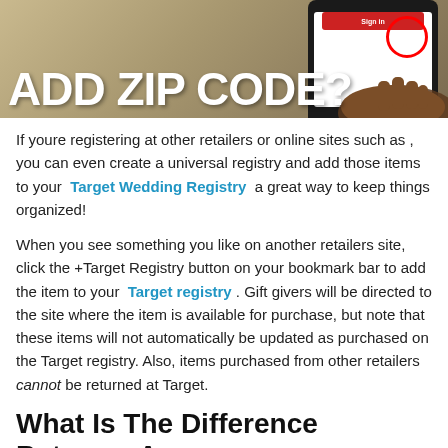[Figure (photo): Screenshot-style image showing a phone with a sign-in screen and a red circle highlight, overlaid with large white text 'ADD ZIP CODE?' on a tan/beige background]
If youre registering at other retailers or online sites such as , you can even create a universal registry and add those items to your Target Wedding Registry a great way to keep things organized!
When you see something you like on another retailers site, click the +Target Registry button on your bookmark bar to add the item to your Target registry . Gift givers will be directed to the site where the item is available for purchase, but note that these items will not automatically be updated as purchased on the Target registry. Also, items purchased from other retailers cannot be returned at Target.
What Is The Difference Between A